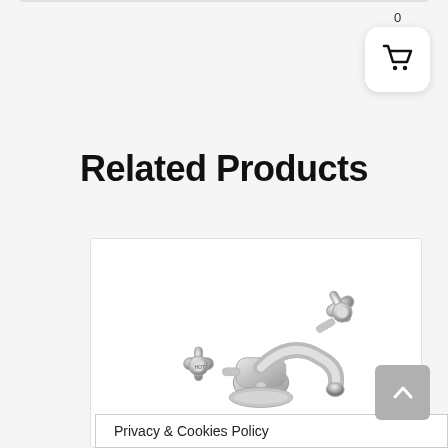[Figure (other): Shopping cart icon in a white rounded square box with badge showing 0]
Related Products
[Figure (photo): Chrome traditional two-handle basin mixer tap/faucet with cross-head handles, product image on white background]
Privacy & Cookies Policy